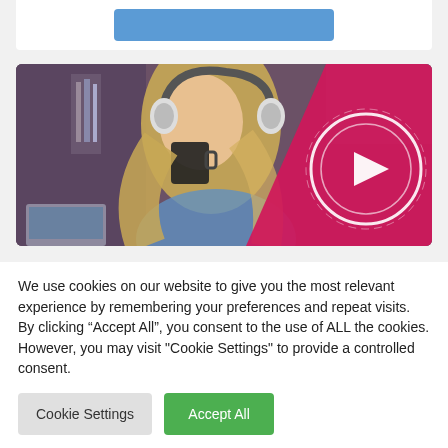[Figure (screenshot): Partial blue button visible at top of a white card]
[Figure (photo): A young woman wearing headphones drinking from a dark mug, with a laptop open, sitting in a cafe. The right portion of the image has a pink/magenta diagonal overlay with a white circular play button icon.]
We use cookies on our website to give you the most relevant experience by remembering your preferences and repeat visits. By clicking “Accept All”, you consent to the use of ALL the cookies. However, you may visit "Cookie Settings" to provide a controlled consent.
Cookie Settings
Accept All